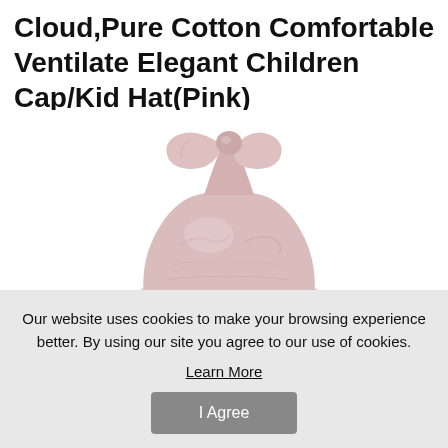Cloud,Pure Cotton Comfortable Ventilate Elegant Children Cap/Kid Hat(Pink)
[Figure (photo): Pink knotted baby/children hat with a tied knot on top, shown on white background, partially visible]
Our website uses cookies to make your browsing experience better. By using our site you agree to our use of cookies.
Learn More
I Agree